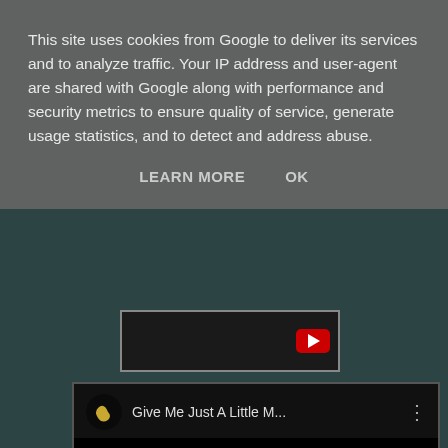This site uses cookies from Google to deliver its services and to analyze traffic. Your IP address and user-agent are shared with Google along with performance and security metrics to ensure quality of service, generate usage statistics, and to detect and address abuse.
LEARN MORE    OK
[Figure (screenshot): YouTube video embed player bar showing a YouTube icon/play button on the right side, dark background.]
[Figure (screenshot): YouTube video embed showing title 'Give Me Just A Little M...' with a channel icon (crescent moon shape on black), three-dot menu, and a large black video area below.]